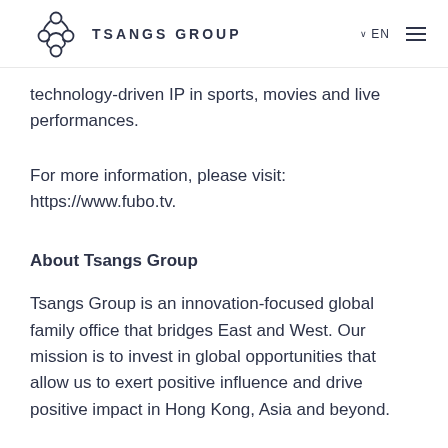TSANGS GROUP | EN
technology-driven IP in sports, movies and live performances.
For more information, please visit: https://www.fubo.tv.
About Tsangs Group
Tsangs Group is an innovation-focused global family office that bridges East and West. Our mission is to invest in global opportunities that allow us to exert positive influence and drive positive impact in Hong Kong, Asia and beyond.
Headquartered in Hong Kong, Tsangs Group has